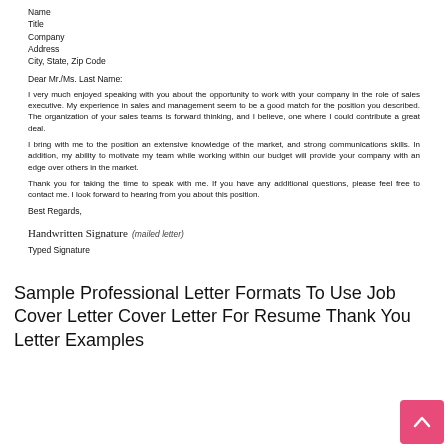Name
Title
Company
Address
City, State, Zip Code
Dear Mr./Ms. Last Name:
I very much enjoyed speaking with you about the opportunity to work with your company in the role of sales executive. My experience in sales and management seem to be a good match for the position you described. The organization of your sales teams is forward thinking, and I believe, one where I could contribute a great deal.
I bring with me to the position an extensive knowledge of the market, and strong communications skills. In addition, my ability to motivate my team while working within our budget will provide your company with an edge over others in the market.
Thank you for taking the time to speak with me. If you have any additional questions, please feel free to contact me. I look forward to hearing from you about this position.
Best Regards,
Handwritten Signature  (mailed letter)
Typed Signature
Sample Professional Letter Formats To Use Job Cover Letter Cover Letter For Resume Thank You Letter Examples
[Figure (other): Orange-bordered document box containing a letter dated May 6, 2008]
May 6, 2008